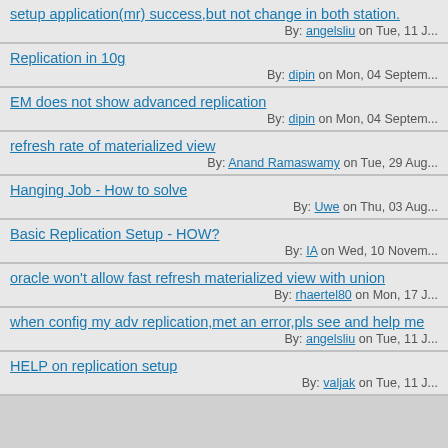setup application(mr) success,but not change in both station.
By: angelsliu on Tue, 11 J...
Replication in 10g
By: dipin on Mon, 04 Septem...
EM does not show advanced replication
By: dipin on Mon, 04 Septem...
refresh rate of materialized view
By: Anand Ramaswamy on Tue, 29 Aug...
Hanging Job - How to solve
By: Uwe on Thu, 03 Aug...
Basic Replication Setup - HOW?
By: IA on Wed, 10 Novem...
oracle won't allow fast refresh materialized view with union
By: rhaertel80 on Mon, 17 J...
when config my adv replication,met an error,pls see and help me
By: angelsliu on Tue, 11 J...
HELP on replication setup
By: valjak on Tue, 11 J...